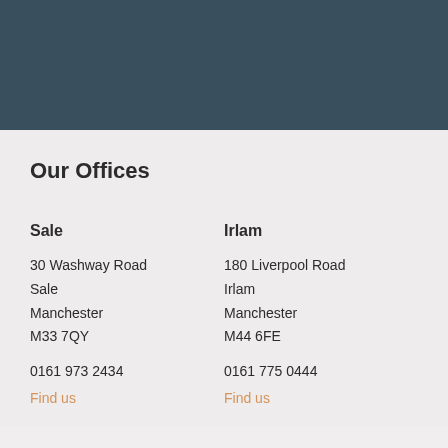[Figure (other): Dark blue-grey header banner area]
Our Offices
Sale
30 Washway Road
Sale
Manchester
M33 7QY
0161 973 2434
Find us
Irlam
180 Liverpool Road
Irlam
Manchester
M44 6FE
0161 775 0444
Find us